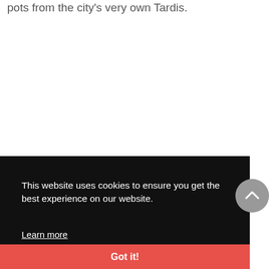pots from the city's very own Tardis.
This website uses cookies to ensure you get the best experience on our website.
Learn more
Got it!